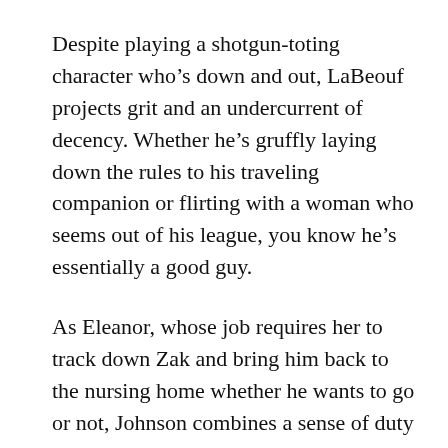Despite playing a shotgun-toting character who's down and out, LaBeouf projects grit and an undercurrent of decency. Whether he's gruffly laying down the rules to his traveling companion or flirting with a woman who seems out of his league, you know he's essentially a good guy.
As Eleanor, whose job requires her to track down Zak and bring him back to the nursing home whether he wants to go or not, Johnson combines a sense of duty with genuine caring.
But it's Gottsagen's portrayal of Zak that gives the film its soul. In fact, according to a